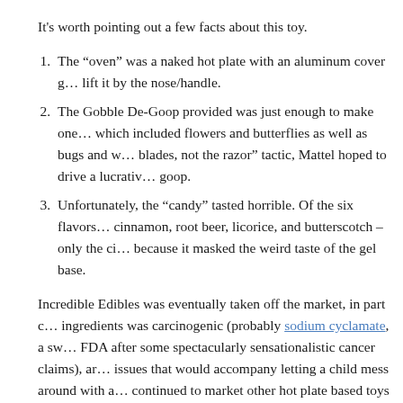It's worth pointing out a few facts about this toy.
The “oven” was a naked hot plate with an aluminum cover g… lift it by the nose/handle.
The Gobble De-Goop provided was just enough to make on… which included flowers and butterflies as well as bugs and w… blades, not the razor” tactic, Mattel hoped to drive a lucrative goop.
Unfortunately, the “candy” tasted horrible. Of the six flavors… cinnamon, root beer, licorice, and butterscotch – only the ci… because it masked the weird taste of the gel base.
Incredible Edibles was eventually taken off the market, in part c… ingredients was carcinogenic (probably sodium cyclamate, a sw… FDA after some spectacularly sensationalistic cancer claims), an… issues that would accompany letting a child mess around with a… continued to market other hot plate based toys (they must have h… elements) that culminated in the StrangeÂ Change Machine, wh… have ever owned.